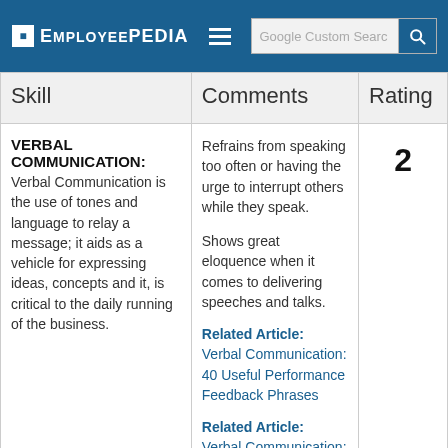Employeepedia — Google Custom Search
| Skill | Comments | Rating |
| --- | --- | --- |
| VERBAL COMMUNICATION: Verbal Communication is the use of tones and language to relay a message; it aids as a vehicle for expressing ideas, concepts and it, is critical to the daily running of the business. | Refrains from speaking too often or having the urge to interrupt others while they speak.

Shows great eloquence when it comes to delivering speeches and talks.

Related Article: Verbal Communication: 40 Useful Performance Feedback Phrases

Related Article: Verbal Communication: 15 Examples for Setting Performance Goals | 2 |